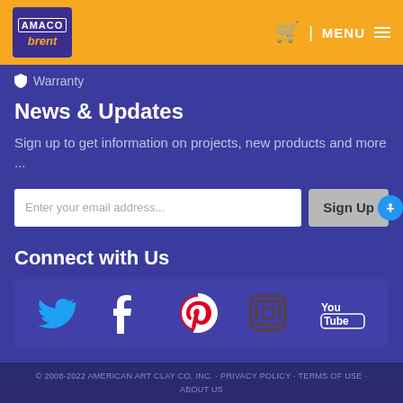AMACO brent — navigation header with cart and menu
Warranty
News & Updates
Sign up to get information on projects, new products and more ...
Enter your email address... [Sign Up button]
Connect with Us
[Figure (infographic): Social media icons: Twitter, Facebook, Pinterest, Instagram, YouTube]
© 2008-2022 AMERICAN ART CLAY CO, INC. · PRIVACY POLICY · TERMS OF USE · ABOUT US